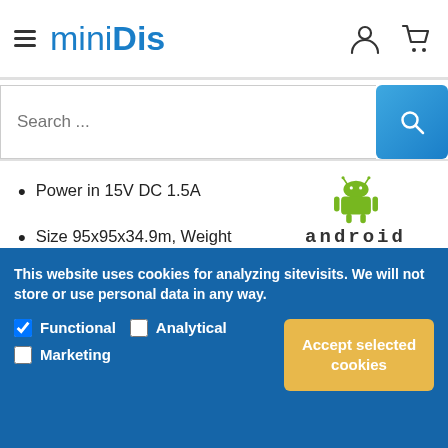miniDis
Search ...
Power in 15V DC 1.5A
Size 95x95x34.9m, Weight 338G
CE / FCC / VCC certified.
[Figure (logo): Android robot logo with green robot figure and ANDROID text below]
This website uses cookies for analyzing sitevisits. We will not store or use personal data in any way.
Functional  Analytical  Marketing
Accept selected cookies